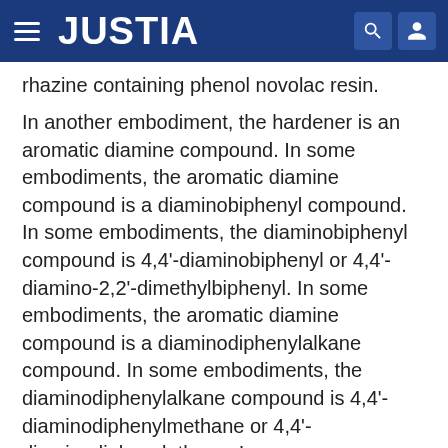JUSTIA
rhazine containing phenol novolac resin.
In another embodiment, the hardener is an aromatic diamine compound. In some embodiments, the aromatic diamine compound is a diaminobiphenyl compound. In some embodiments, the diaminobiphenyl compound is 4,4'-diaminobiphenyl or 4,4'-diamino-2,2'-dimethylbiphenyl. In some embodiments, the aromatic diamine compound is a diaminodiphenylalkane compound. In some embodiments, the diaminodiphenylalkane compound is 4,4'-diaminodiphenylmethane or 4,4'-diaminodiphenylethane. In some embodiments, the aromatic diamine compound is a diaminodiphenyl ether compound. In some embodiments, the diaminodiphenyl ether compounds is 4,4'-diaminodiphenylether or di(4-amino-3-ethylphenyl)ether. In some embodiments, the aromatic diamine compound is a diaminodiphenyl